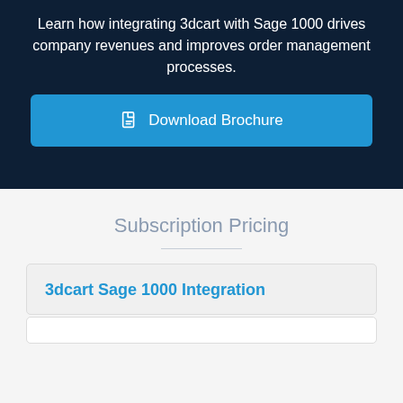Learn how integrating 3dcart with Sage 1000 drives company revenues and improves order management processes.
[Figure (other): Blue button with document icon labeled 'Download Brochure']
Subscription Pricing
3dcart Sage 1000 Integration